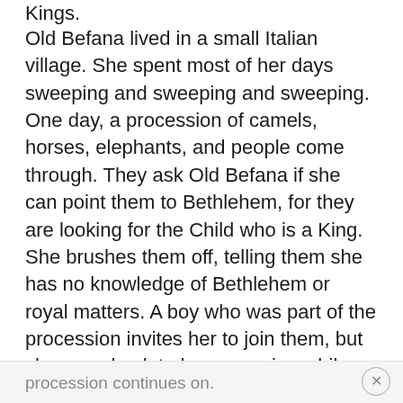Kings.
Old Befana lived in a small Italian village. She spent most of her days sweeping and sweeping and sweeping. One day, a procession of camels, horses, elephants, and people come through. They ask Old Befana if she can point them to Bethlehem, for they are looking for the Child who is a King. She brushes them off, telling them she has no knowledge of Bethlehem or royal matters. A boy who was part of the procession invites her to join them, but she goes back to her sweeping while the
procession continues on.